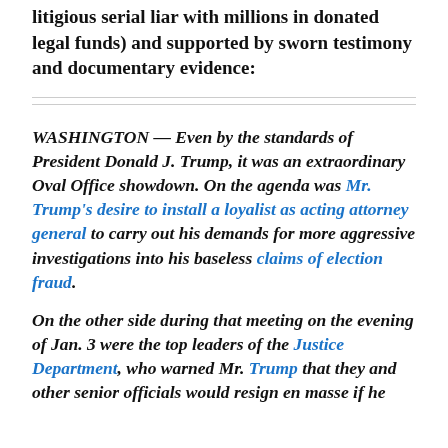litigious serial liar with millions in donated legal funds) and supported by sworn testimony and documentary evidence:
WASHINGTON — Even by the standards of President Donald J. Trump, it was an extraordinary Oval Office showdown. On the agenda was Mr. Trump's desire to install a loyalist as acting attorney general to carry out his demands for more aggressive investigations into his baseless claims of election fraud.
On the other side during that meeting on the evening of Jan. 3 were the top leaders of the Justice Department, who warned Mr. Trump that they and other senior officials would resign en masse if he